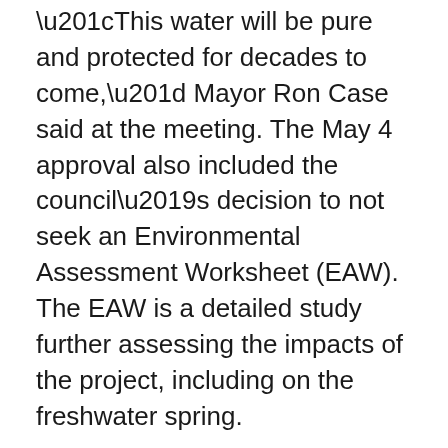“This water will be pure and protected for decades to come,” Mayor Ron Case said at the meeting. The May 4 approval also included the council’s decision to not seek an Environmental Assessment Worksheet (EAW). The EAW is a detailed study further assessing the impacts of the project, including on the freshwater spring.
Opponents have appealed that decision to the Minnesota Environmental Quality Board, aided by a GoFundMe campaign for legal help that has raised more than $11,600.